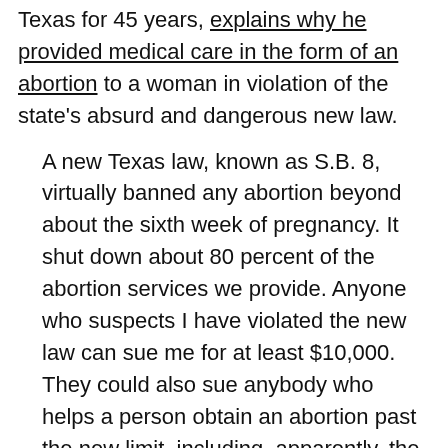Texas for 45 years, explains why he provided medical care in the form of an abortion to a woman in violation of the state's absurd and dangerous new law.
A new Texas law, known as S.B. 8, virtually banned any abortion beyond about the sixth week of pregnancy. It shut down about 80 percent of the abortion services we provide. Anyone who suspects I have violated the new law can sue me for at least $10,000. They could also sue anybody who helps a person obtain an abortion past the new limit, including, apparently, the driver who brings a patient to my clinic.
For me, it is 1972 all over again.
And that is why, on the morning of Sept. 6, I provided an abortion to a woman who, though still in her first trimester, was beyond the state's new